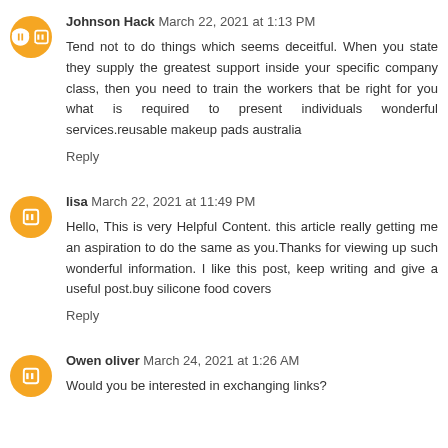Johnson Hack  March 22, 2021 at 1:13 PM
Tend not to do things which seems deceitful. When you state they supply the greatest support inside your specific company class, then you need to train the workers that be right for you what is required to present individuals wonderful services.reusable makeup pads australia
Reply
lisa  March 22, 2021 at 11:49 PM
Hello, This is very Helpful Content. this article really getting me an aspiration to do the same as you.Thanks for viewing up such wonderful information. I like this post, keep writing and give a useful post.buy silicone food covers
Reply
Owen oliver  March 24, 2021 at 1:26 AM
Would you be interested in exchanging links?